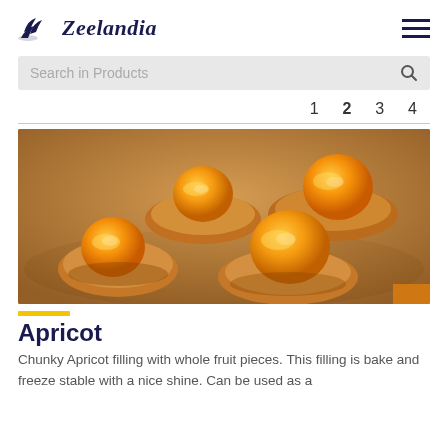Zeelandia
Search in Products
1  2  3  4
[Figure (photo): Close-up photo of apricot-topped Danish pastries on a plate, showing glossy glazed whole apricot halves on golden-brown pastry]
Apricot
Chunky Apricot filling with whole fruit pieces. This filling is bake and freeze stable with a nice shine. Can be used as a